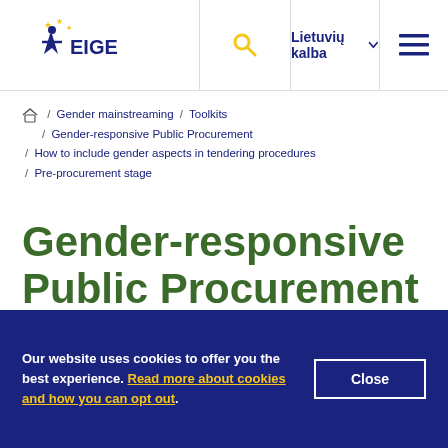[Figure (logo): EIGE (European Institute for Gender Equality) logo with star figure and yellow stars]
Lietuvių kalba  ☰
Home / Gender mainstreaming / Toolkits / Gender-responsive Public Procurement / How to include gender aspects in tendering procedures / Pre-procurement stage
Gender-responsive Public Procurement
Our website uses cookies to offer you the best experience. Read more about cookies and how you can opt out.